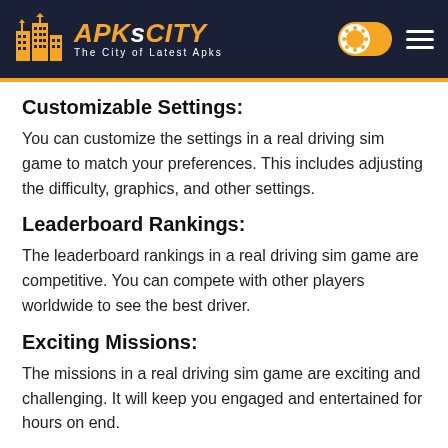APKsCITY — The City of Latest Apks
Customizable Settings:
You can customize the settings in a real driving sim game to match your preferences. This includes adjusting the difficulty, graphics, and other settings.
Leaderboard Rankings:
The leaderboard rankings in a real driving sim game are competitive. You can compete with other players worldwide to see the best driver.
Exciting Missions:
The missions in a real driving sim game are exciting and challenging. It will keep you engaged and entertained for hours on end.